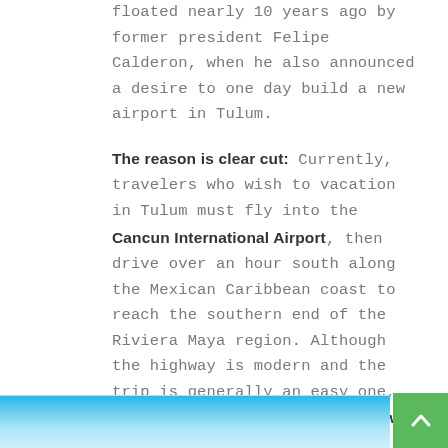floated nearly 10 years ago by former president Felipe Calderon, when he also announced a desire to one day build a new airport in Tulum.

The reason is clear cut: Currently, travelers who wish to vacation in Tulum must fly into the Cancun International Airport, then drive over an hour south along the Mexican Caribbean coast to reach the southern end of the Riviera Maya region. Although the highway is modern and the trip is generally an easy one, it's also easy to see why a new Tulum airport would make the region even more appealing to vacationers from around the world.
[Figure (photo): Blue sky/aerial photo strip at the bottom of the page]